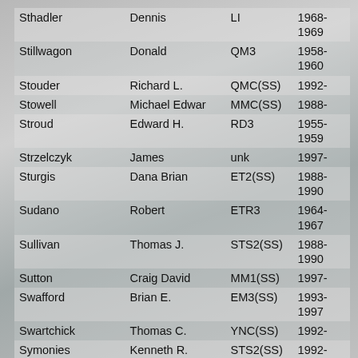| Sthadler | Dennis | LI | 1968-
1969 |
| Stillwagon | Donald | QM3 | 1958-
1960 |
| Stouder | Richard L. | QMC(SS) | 1992- |
| Stowell | Michael Edwar | MMC(SS) | 1988- |
| Stroud | Edward H. | RD3 | 1955-
1959 |
| Strzelczyk | James | unk | 1997- |
| Sturgis | Dana Brian | ET2(SS) | 1988-
1990 |
| Sudano | Robert | ETR3 | 1964-
1967 |
| Sullivan | Thomas J. | STS2(SS) | 1988-
1990 |
| Sutton | Craig David | MM1(SS) | 1997- |
| Swafford | Brian E. | EM3(SS) | 1993-
1997 |
| Swartchick | Thomas C. | YNC(SS) | 1992- |
| Symonies | Kenneth R. | STS2(SS) | 1992- |
| Synakowski | Michael J. | TMC(SS) | 1994-
1995 |